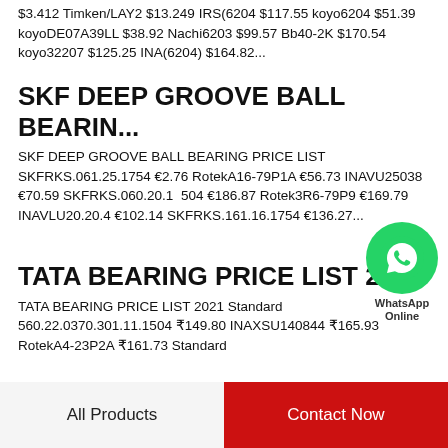$3.412 Timken/LAY2 $13.249 IRS(6204 $117.55 koyo6204 $51.39 koyoDE07A39LL $38.92 Nachi6203 $99.57 Bb40-2K $170.54 koyo32207 $125.25 INA(6204) $164.82...
SKF DEEP GROOVE BALL BEARIN...
SKF DEEP GROOVE BALL BEARING PRICE LIST SKFRKS.061.25.1754 €2.76 RotekA16-79P1A €56.73 INAVU25038 €70.59 SKFRKS.060.20.1504 €186.87 Rotek3R6-79P9 €169.79 INAVLU20.20.4 €102.14 SKFRKS.161.16.1754 €136.27...
[Figure (illustration): WhatsApp Online chat button - green circle with phone icon and text 'WhatsApp Online']
TATA BEARING PRICE LIST 2021
TATA BEARING PRICE LIST 2021 Standard 560.22.0370.301.11.1504 ₹149.80 INAXSU140844 ₹165.93 RotekA4-23P2A ₹161.73 Standard
All Products    Contact Now